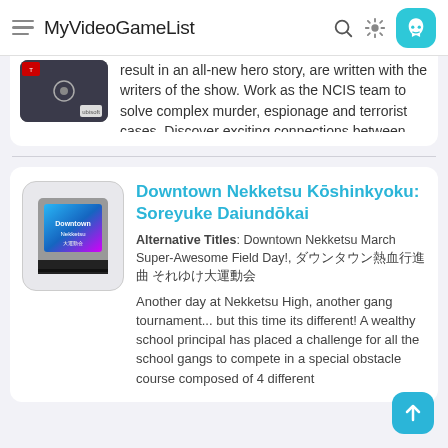MyVideoGameList
...result in an all-new hero story, are written with the writers of the show. Work as the NCIS team to solve complex murder, espionage and terrorist cases. Discover exciting connections between the four original...
Downtown Nekketsu Kōshinkyoku: Soreyuke Daiundōkai
Alternative Titles: Downtown Nekketsu March Super-Awesome Field Day!, ダウンタウン熱血行進曲 それゆけ大運動会
Another day at Nekketsu High, another gang tournament... but this time its different! A wealthy school principal has placed a challenge for all the school gangs to compete in a special obstacle course composed of 4 different